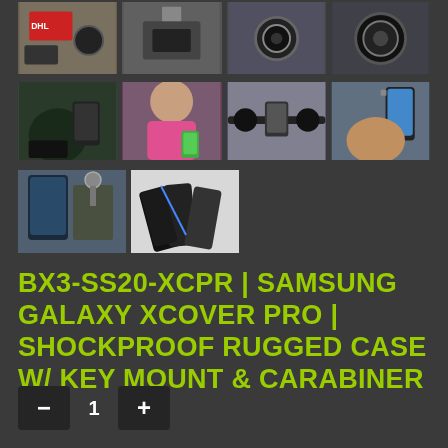[Figure (photo): Product thumbnail images grid - row 1: DHL/shipping label photo, phone mount photo, camera/lens photo, circular object photo]
[Figure (photo): Product thumbnail images grid - row 2: person in vehicle with phone/mount, girl with phone armband, bicycle handlebar mount, hand holding phone with mount]
[Figure (photo): Product thumbnail images grid - row 3: phone case with carabiner on belt, product flat lay of cases]
BX3-SS20-XCPR | SAMSUNG GALAXY XCOVER PRO | SHOCKPROOF RUGGED CASE W/ KEY MOUNT & CARABINER
1